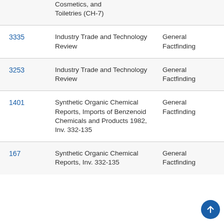|  |  |  |
| --- | --- | --- |
|  | Cosmetics, and Toiletries (CH-7) |  |
| 3335 | Industry Trade and Technology Review | General Factfinding |
| 3253 | Industry Trade and Technology Review | General Factfinding |
| 1401 | Synthetic Organic Chemical Reports, Imports of Benzenoid Chemicals and Products 1982, Inv. 332-135 | General Factfinding |
| 167 | Synthetic Organic Chemical Reports, Inv. 332-135 | General Factfinding |